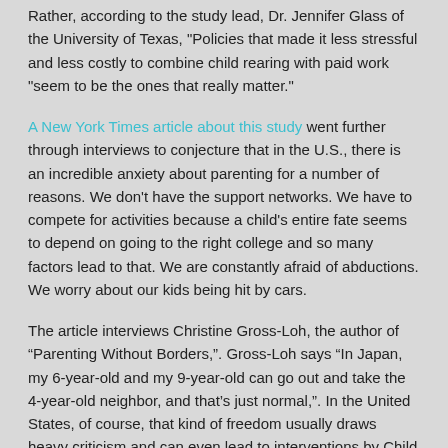Rather, according to the study lead, Dr. Jennifer Glass of the University of Texas, "Policies that made it less stressful and less costly to combine child rearing with paid work "seem to be the ones that really matter."
A New York Times article about this study went further through interviews to conjecture that in the U.S., there is an incredible anxiety about parenting for a number of reasons.  We don't have the support networks.  We have to compete for activities because a child's entire fate seems to depend on going to the right college and so many factors lead to that.  We are constantly afraid of abductions.  We worry about our kids being hit by cars.
The article interviews Christine Gross-Loh, the author of “Parenting Without Borders,”.  Gross-Loh says “In Japan, my 6-year-old and my 9-year-old can go out and take the 4-year-old neighbor, and that’s just normal,”.  In the United States, of course, that kind of freedom usually draws heavy criticism and can even lead to interventions by Child Protective Services.